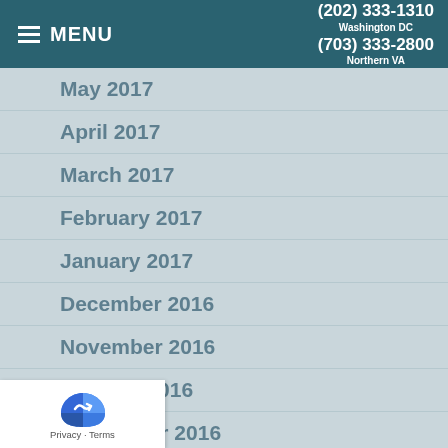MENU | (202) 333-1310 Washington DC | (703) 333-2800 Northern VA
May 2017
April 2017
March 2017
February 2017
January 2017
December 2016
November 2016
October 2016
September 2016
August 2016
…016
…016